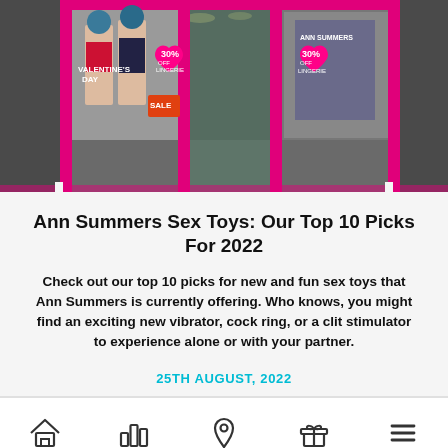[Figure (photo): Ann Summers storefront with pink framing, mannequins in lingerie, 30% off lingerie signs in pink heart shapes, Valentine's Day display and SALE signs in window]
Ann Summers Sex Toys: Our Top 10 Picks For 2022
Check out our top 10 picks for new and fun sex toys that Ann Summers is currently offering. Who knows, you might find an exciting new vibrator, cock ring, or a clit stimulator to experience alone or with your partner.
25TH AUGUST, 2022